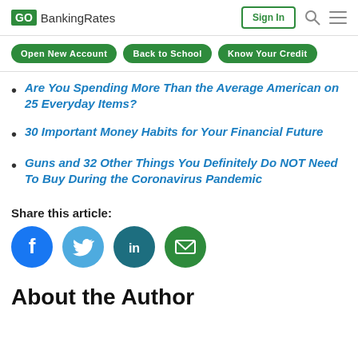GOBankingRates | Sign In
Are You Spending More Than the Average American on 25 Everyday Items?
30 Important Money Habits for Your Financial Future
Guns and 32 Other Things You Definitely Do NOT Need To Buy During the Coronavirus Pandemic
Share this article:
[Figure (infographic): Social share buttons: Facebook (blue circle), Twitter (light blue circle), LinkedIn (dark teal circle), Email (green circle)]
About the Author